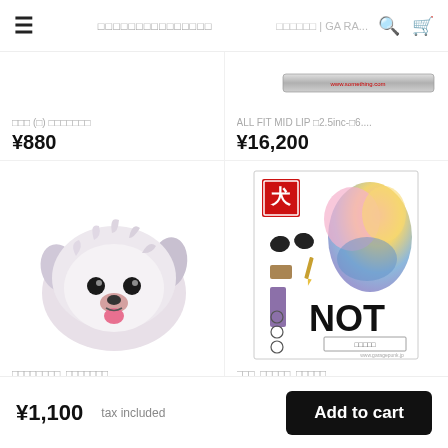≡  □□□□□□□□□□□□□□□  □□□□□□ | GARA...  🔍  🛒
□□□ (□) □□□□□□□
¥880
ALL FIT MID LIP □2.5inc-□6....
¥16,200
[Figure (illustration): Cartoon fluffy white/gray dog face with tongue out]
[Figure (illustration): Sticker sheet with colorful cloud/cotton candy graphic, face stickers, and NOT text]
□□□□□□□□  □□□□□□□
¥1,100
□□□  □□□□□  □□□□□
¥2,750
¥1,100  tax included
Add to cart